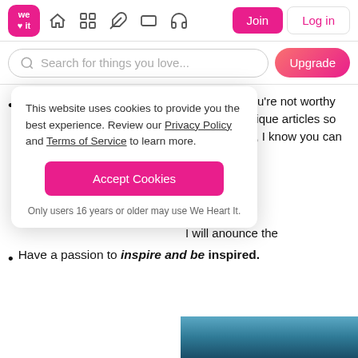We Heart It navigation bar with logo, icons, Join and Log in buttons
Search for things you love...
No plagiate, If you copy someones article you're not worthy of joining The Sparkle Team. We will write unique articles so be you, do you and write an amazing article, I know you can do it!
This website uses cookies to provide you the best experience. Review our Privacy Policy and Terms of Service to learn more.
Accept Cookies
Only users 16 years or older may use We Heart It.
napchat/instagram ... roupchat but I'm ... h WHI only due to
I will anounce the
Have a passion to inspire and be inspired.
[Figure (photo): Mountain/landscape photo strip at bottom right]